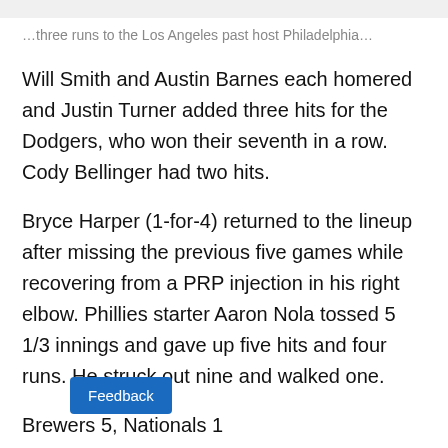…three runs to the Los Angeles past host Philadelphia…
Will Smith and Austin Barnes each homered and Justin Turner added three hits for the Dodgers, who won their seventh in a row. Cody Bellinger had two hits.
Bryce Harper (1-for-4) returned to the lineup after missing the previous five games while recovering from a PRP injection in his right elbow. Phillies starter Aaron Nola tossed 5 1/3 innings and gave up five hits and four runs. He struck out nine and walked one.
Brewers 5, Nationals 1
An…cutchen and Luis Urias homered and